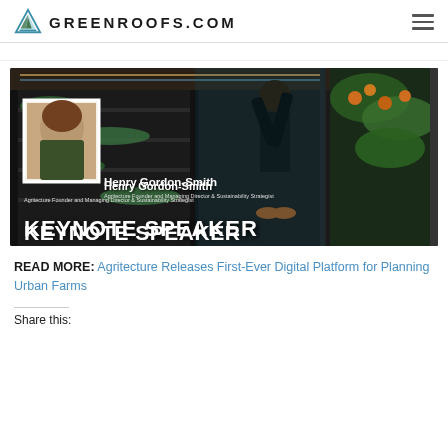GREENROOFS.COM
[Figure (photo): Indoor vertical farm with rows of growing plants under LED lights. A person reaches up to tend orange flowering plants. Overlaid text shows a portrait photo of Henry Gordon-Smith with name, title 'Agritecture Founder and Managing Director & Sustainability Strategist', and 'KEYNOTE SPEAKER'.]
READ MORE: Agritecture Releases First-Ever Digital Platform for Planning Urban Farms
Share this: